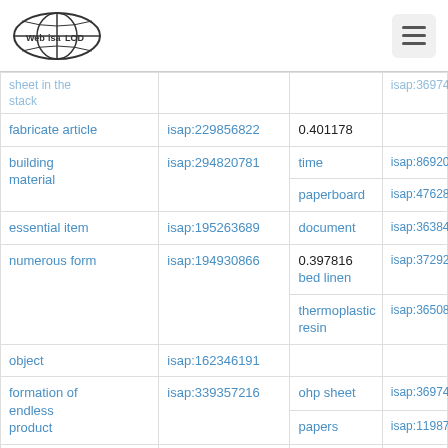Web isa LOD
| term | isap | related term | isap |
| --- | --- | --- | --- |
| sheet in the stack (partial) | isap:36974… |  |  |
| fabricate article | isap:229856822 | 0.401178 |  |
| building material | isap:294820781 | time | isap:86920756 |
|  |  | paperboard | isap:47628918 |
| essential item | isap:195263689 | document | isap:36384942 |
| numerous form | isap:194930866 | 0.397816 |  |
|  |  | bed linen | isap:37292974 |
| object | isap:162346191 | thermoplastic resin | isap:36508813 |
| formation of endless product | isap:339357216 | ohp sheet | isap:36974509 |
|  |  | papers | isap:11987275 |
| flat product | isap:221849318 | circle | isap:12088937 |
| impurity level for product | isap:374285296 | 0.395649 |  |
|  |  | bill | isap:89370513 |
| basis need (partial) | isap:195527059 | 0.395451 |  |